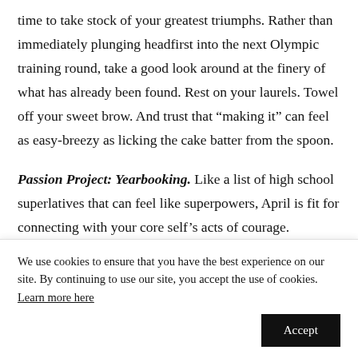time to take stock of your greatest triumphs. Rather than immediately plunging headfirst into the next Olympic training round, take a good look around at the finery of what has already been found. Rest on your laurels. Towel off your sweet brow. And trust that “making it” can feel as easy-breezy as licking the cake batter from the spoon.
Passion Project: Yearbooking. Like a list of high school superlatives that can feel like superpowers, April is fit for connecting with your core self’s acts of courage. Scrapbook
We use cookies to ensure that you have the best experience on our site. By continuing to use our site, you accept the use of cookies. Learn more here
Accept